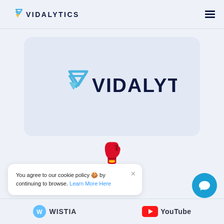VIDALYTICS
[Figure (logo): Vidalytics logo on a light blue/grey rounded rectangle card background. Shows the Vidalytics chevron/V icon in blue and the wordmark VIDALYTICS in dark navy.]
[Figure (illustration): Red boxing glove emoji]
You agree to our cookie policy 🍪 by continuing to browse. Learn More Here
[Figure (illustration): Wistia logo partial at bottom left, YouTube logo partial at bottom right]